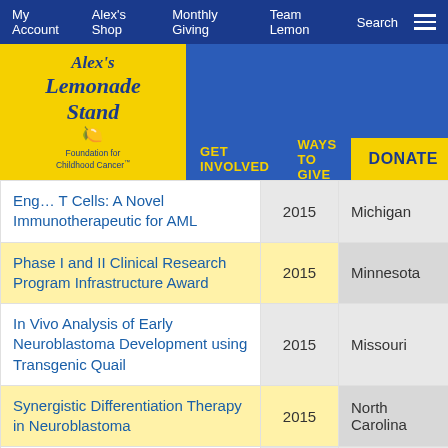My Account | Alex's Shop | Monthly Giving | Team Lemon | Search
[Figure (logo): Alex's Lemonade Stand Foundation for Childhood Cancer logo with yellow background]
GET INVOLVED   WAYS TO GIVE   DONATE
| Title | Year | State |
| --- | --- | --- |
| Eng… T Cells: A Novel Immunotherapeutic for AML | 2015 | Michigan |
| Phase I and II Clinical Research Program Infrastructure Award | 2015 | Minnesota |
| In Vivo Analysis of Early Neuroblastoma Development using Transgenic Quail | 2015 | Missouri |
| Synergistic Differentiation Therapy in Neuroblastoma | 2015 | North Carolina |
| Preclinical Development of Atr Inhibitor VE-822, Delivered Systemically in Nanoparticles, for Medulloblastoma Therapy | 2015 | North Carolina |